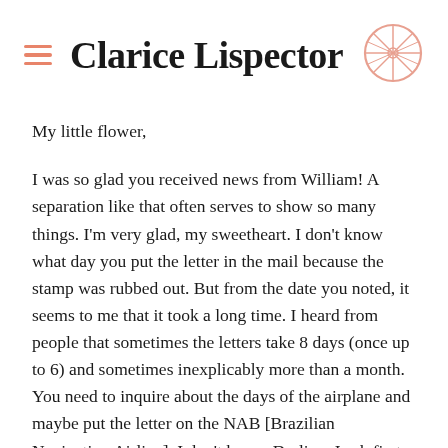Clarice Lispector
My little flower,
I was so glad you received news from William! A separation like that often serves to show so many things. I'm very glad, my sweetheart. I don't know what day you put the letter in the mail because the stamp was rubbed out. But from the date you noted, it seems to me that it took a long time. I heard from people that sometimes the letters take 8 days (once up to 6) and sometimes inexplicably more than a month. You need to inquire about the days of the airplane and maybe put the letter on the NAB [Brazilian Navigation Airline], I don't know. Darling, I ask first of all the following: 1 – How's your throat? How's your general condition? 2 – How's Marcia's cold? How's she doing with her studies? Is she